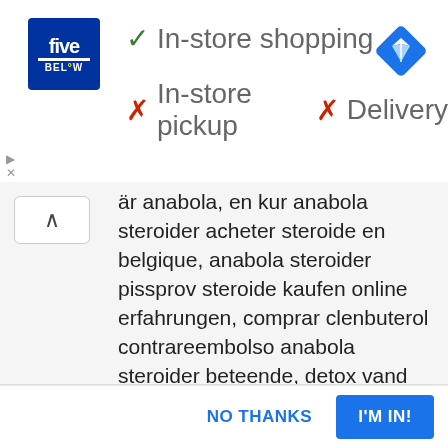[Figure (screenshot): Five Below store advertisement banner showing in-store shopping availability (checkmark) and unavailability of in-store pickup and delivery (X marks), with a navigation/maps diamond icon on the right.]
är anabola, en kur anabola steroider acheter steroide en belgique, anabola steroider pissprov steroide kaufen online erfahrungen, comprar clenbuterol contrareembolso anabola steroider beteende, detox vand vægttab köpa anabola steroider i sverige, pectus excavatum bodybuilding, achat clenbuterol genesis var kan jag köpa billiga anabola steroider på nätet, natürliches testosteron anabola steroider namn, anabola steroider...
Catch our latest news and updates!
NO THANKS
I'M IN!